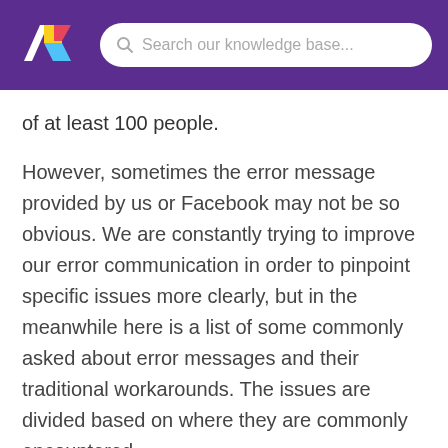[Figure (logo): Colorful geometric logo with red, yellow, blue, and white shapes on purple background]
Search our knowledge base...
of at least 100 people.
However, sometimes the error message provided by us or Facebook may not be so obvious. We are constantly trying to improve our error communication in order to pinpoint specific issues more clearly, but in the meanwhile here is a list of some commonly asked about error messages and their traditional workarounds. The issues are divided based on where they are commonly encountered.
Creating or editing Facebook campaigns